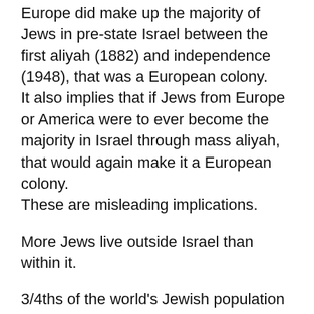Europe did make up the majority of Jews in pre-state Israel between the first aliyah (1882) and independence (1948), that was a European colony.
It also implies that if Jews from Europe or America were to ever become the majority in Israel through mass aliyah, that would again make it a European colony.
These are misleading implications.
More Jews live outside Israel than within it.
3/4ths of the world's Jewish population is made up of exiles who lived in Europe and by extension, America.
An argument like the one above compromises